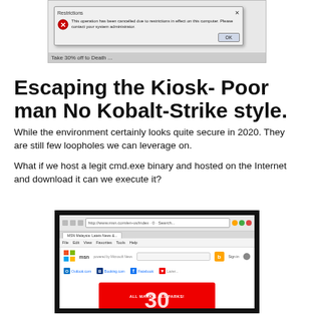[Figure (screenshot): Windows dialog box showing a 'Restrictions' error message: 'This operation has been cancelled due to restrictions in effect on this computer. Please contact your system administrator.' with an OK button]
Escaping the Kiosk- Poor man No Kobalt-Strike style.
While the environment certainly looks quite secure in 2020. They are still few loopholes we can leverage on.
What if we host a legit cmd.exe binary and hosted on the Internet and download it can we execute it?
[Figure (screenshot): Internet Explorer browser window showing MSN homepage with Bing search bar, favorites row with Outlook.com, Booking.com, Facebook icons, and a red promotional banner at the bottom]